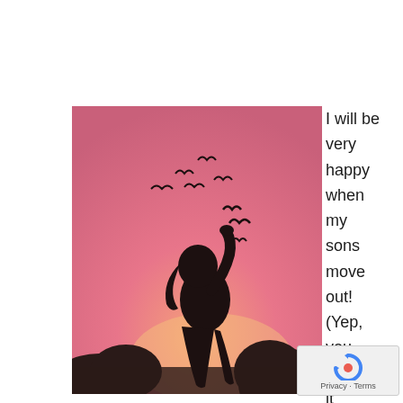[Figure (photo): Silhouette of a girl with arm raised releasing birds into a pink/sunset sky, with dark trees in the background.]
I will be very happy when my sons move out! (Yep, you heard it
[Figure (logo): reCAPTCHA Privacy - Terms badge]